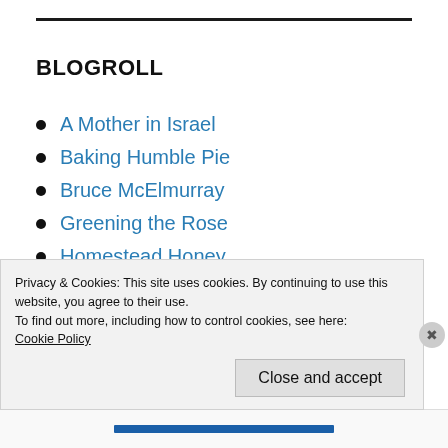BLOGROLL
A Mother in Israel
Baking Humble Pie
Bruce McElmurray
Greening the Rose
Homestead Honey
Jackie Clay
Jewish Mom
Privacy & Cookies: This site uses cookies. By continuing to use this website, you agree to their use.
To find out more, including how to control cookies, see here:
Cookie Policy
Close and accept